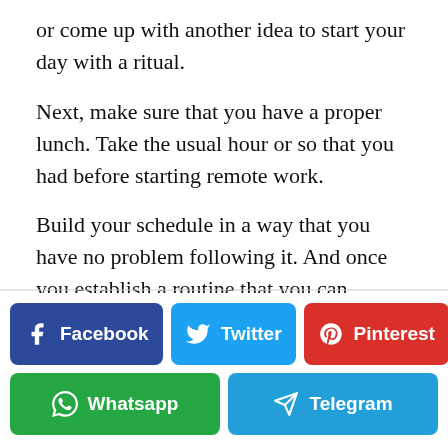or come up with another idea to start your day with a ritual.
Next, make sure that you have a proper lunch. Take the usual hour or so that you had before starting remote work.
Build your schedule in a way that you have no problem following it. And once you establish a routine that you can follow, working from
[Figure (infographic): Social sharing buttons: Facebook (dark blue), Twitter (light blue), Pinterest (red), Whatsapp (green), Telegram (blue)]